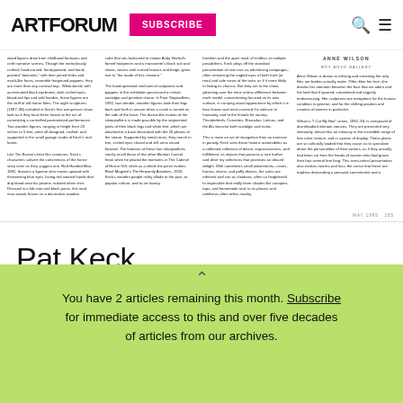ARTFORUM | SUBSCRIBE
[Figure (screenshot): Scanned magazine page showing multi-column art criticism text with 'ANNE WILSON / ROY BOYD GALLERY' header on rightmost column, and a page number MAY 1995 / 285 at bottom right.]
Pat Keck
GENOVESE GALLERY SOUTH
You have 2 articles remaining this month. Subscribe for immediate access to this and over five decades of articles from our archives.